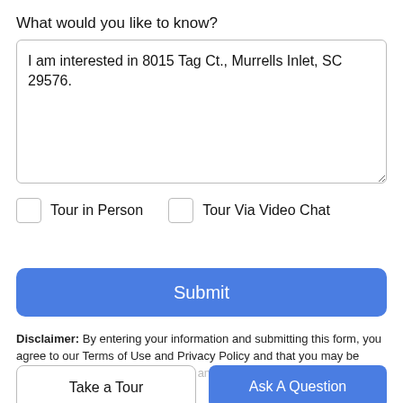What would you like to know?
I am interested in 8015 Tag Ct., Murrells Inlet, SC 29576.
Tour in Person
Tour Via Video Chat
Submit
Disclaimer: By entering your information and submitting this form, you agree to our Terms of Use and Privacy Policy and that you may be contacted by phone, text message and email about your inquiry.
Take a Tour
Ask A Question